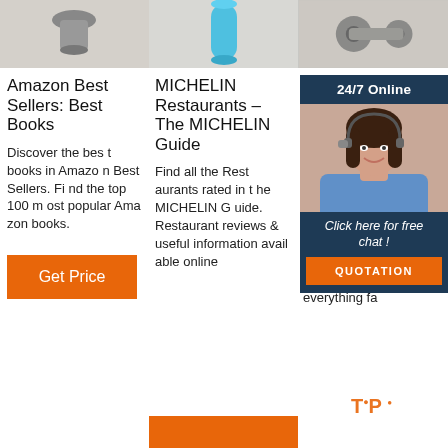[Figure (photo): Three product images at top: left shows a gray mechanical part on white background, center shows a blue cylindrical object on white background, right shows gray mechanical parts on white background.]
Amazon Best Sellers: Best Books
Discover the best books in Amazon Best Sellers. Find the top 100 most popular Amazon books.
MICHELIN Restaurants – The MICHELIN Guide
Find all the Restaurants rated in the MICHELIN Guide. Restaurant reviews & useful information available online
Best SUV: Top SUV Au Pri
2022 200 70 2 exp zu MU-X 2022 review. Family. Family focused reviews and advice for everything fa
[Figure (photo): Chat widget overlay: '24/7 Online' header, photo of smiling woman with headset, 'Click here for free chat!' text, orange QUOTATION button.]